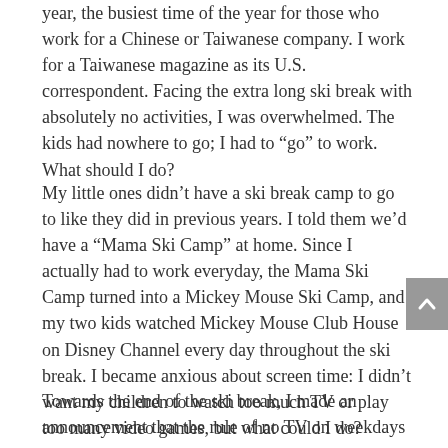year, the busiest time of the year for those who work for a Chinese or Taiwanese company. I work for a Taiwanese magazine as its U.S. correspondent. Facing the extra long ski break with absolutely no activities, I was overwhelmed. The kids had nowhere to go; I had to “go” to work. What should I do?
My little ones didn’t have a ski break camp to go to like they did in previous years. I told them we’d have a “Mama Ski Camp” at home. Since I actually had to work everyday, the Mama Ski Camp turned into a Mickey Mouse Ski Camp, and my two kids watched Mickey Mouse Club House on Disney Channel every day throughout the ski break. I became anxious about screen time: I didn’t want my children to watch too much TV or play too many video games, but what could I do?
Towards the end of the ski break, I made an announcement that the rule of no TV on weekdays would be re-established when school starts again.